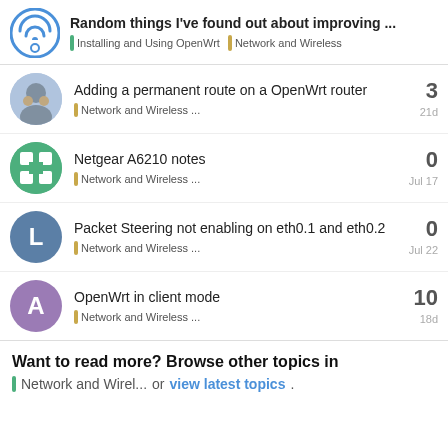Random things I've found out about improving ... | Installing and Using OpenWrt | Network and Wireless
Adding a permanent route on a OpenWrt router | Network and Wireless ... | 3 | 21d
Netgear A6210 notes | Network and Wireless ... | 0 | Jul 17
Packet Steering not enabling on eth0.1 and eth0.2 | Network and Wireless ... | 0 | Jul 22
OpenWrt in client mode | Network and Wireless ... | 10 | 18d
Want to read more? Browse other topics in Network and Wirel... or view latest topics.